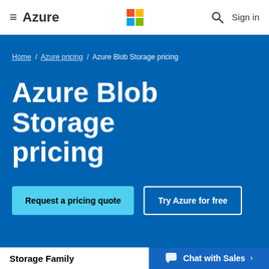≡ Azure | Microsoft Logo | 🔍 Sign in
Home / Azure pricing / Azure Blob Storage pricing
Azure Blob Storage pricing
Request a pricing quote
Try Azure for free
Storage Family
Chat with Sales